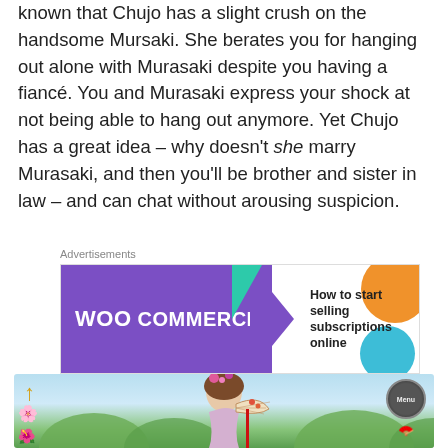known that Chujo has a slight crush on the handsome Mursaki. She berates you for hanging out alone with Murasaki despite you having a fiancé. You and Murasaki express your shock at not being able to hang out anymore. Yet Chujo has a great idea – why doesn't she marry Murasaki, and then you'll be brother and sister in law – and can chat without arousing suspicion.
[Figure (screenshot): WooCommerce advertisement banner: purple left side with WooCommerce logo and teal arrow, right side with orange and blue decorative blobs and text 'How to start selling subscriptions online']
[Figure (screenshot): Visual novel / game screenshot showing an anime-style female character with flowers in hair holding a decorative fan, set against a sky and tree background with game UI elements including up arrow, menu button, and decorative icons]